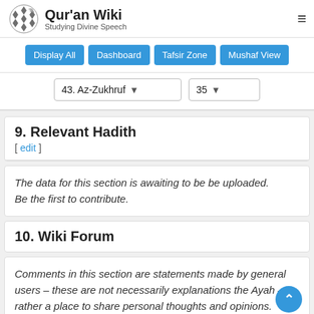Qur'an Wiki — Studying Divine Speech
Display All | Dashboard | Tafsir Zone | Mushaf View
43. Az-Zukhruf | 35
9. Relevant Hadith [ edit ]
The data for this section is awaiting to be be uploaded. Be the first to contribute.
10. Wiki Forum
Comments in this section are statements made by general users – these are not necessarily explanations the Ayah – rather a place to share personal thoughts and opinions.